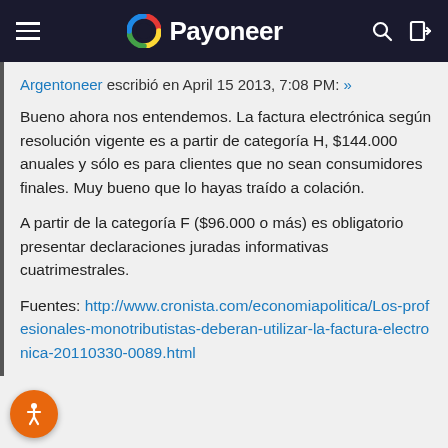Payoneer
Argentoneer escribió en April 15 2013, 7:08 PM: »
Bueno ahora nos entendemos. La factura electrónica según resolución vigente es a partir de categoría H, $144.000 anuales y sólo es para clientes que no sean consumidores finales. Muy bueno que lo hayas traído a colación.
A partir de la categoría F ($96.000 o más) es obligatorio presentar declaraciones juradas informativas cuatrimestrales.
Fuentes: http://www.cronista.com/economiapolitica/Los-profesionales-monotributistas-deberan-utilizar-la-factura-electronica-20110330-0089.html